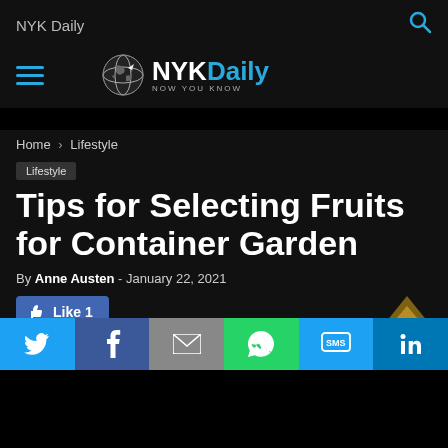NYK Daily
[Figure (logo): NYK Daily logo with globe icon and tagline 'Now You Know']
Home › Lifestyle
Lifestyle
Tips for Selecting Fruits for Container Garden
By Anne Austen - January 22, 2021
[Figure (infographic): Like 1 button (Facebook like), scroll-up arrow icon, and social sharing bar with Twitter, Facebook, Email, WhatsApp, SMS, LinkedIn icons]